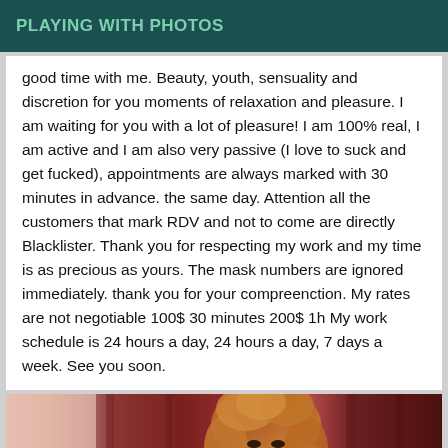PLAYING WITH PHOTOS
good time with me. Beauty, youth, sensuality and discretion for you moments of relaxation and pleasure. I am waiting for you with a lot of pleasure! I am 100% real, I am active and I am also very passive (I love to suck and get fucked), appointments are always marked with 30 minutes in advance. the same day. Attention all the customers that mark RDV and not to come are directly Blacklister. Thank you for respecting my work and my time is as precious as yours. The mask numbers are ignored immediately. thank you for your compreenction. My rates are not negotiable 100$ 30 minutes 200$ 1h My work schedule is 24 hours a day, 24 hours a day, 7 days a week. See you soon.
[Figure (photo): Photo of a person with curly reddish-blonde hair in front of a dark red curtain background]